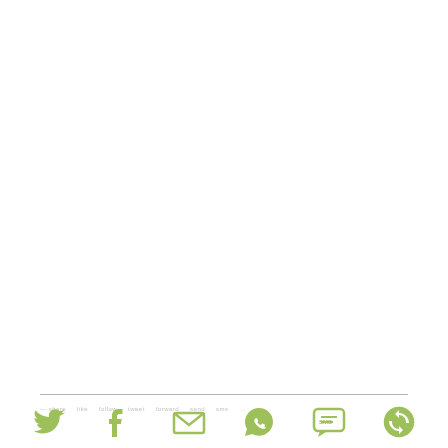— share · like · follow · tweet · forward · send · sms · ...
[Figure (illustration): Six social sharing icons in light green: Twitter bird, Facebook F, Email envelope, WhatsApp chat bubble, SMS bubble, and a circular arrow/share icon]